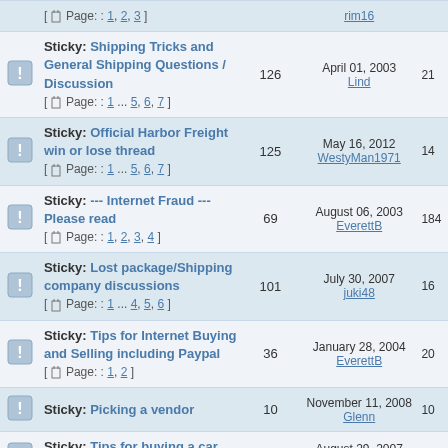|  | Topic | Replies | Last Post | Views |
| --- | --- | --- | --- | --- |
| [icon] | Sticky: Shipping Tricks and General Shipping Questions / Discussion [ Page: : 1 ... 5, 6, 7 ] | 126 | April 01, 2003 Lind | 21 |
| [icon] | Sticky: Official Harbor Freight win or lose thread [ Page: : 1 ... 5, 6, 7 ] | 125 | May 16, 2012 WestyMan1971 | 14 |
| [icon] | Sticky: --- Internet Fraud --- Please read [ Page: : 1, 2, 3, 4 ] | 69 | August 06, 2003 EverettB | 184 |
| [icon] | Sticky: Lost package/Shipping company discussions [ Page: : 1 ... 4, 5, 6 ] | 101 | July 30, 2007 juki48 | 16 |
| [icon] | Sticky: Tips for Internet Buying and Selling including Paypal [ Page: : 1, 2 ] | 36 | January 28, 2004 EverettB | 20 |
| [icon] | Sticky: Picking a vendor | 10 | November 11, 2008 Glenn | 10 |
| [icon] | Sticky: Tips for buying a car over the Internet | 5 | August 29, 2007 EverettB | 35 |
| [icon] | Sticky: Auto Transport/Shipping Information | 0 | August 19, 2007 EverettB | 25 |
Topics
|  | Topic | Replies | Last Post | Views |
| --- | --- | --- | --- | --- |
| [icon] | Restojohnny - therealrestojohnny@gmail.com [ Page: : 1 ... 35, 36, 37 ] | 529 | May 13, 2005 restojohnny | 14 |